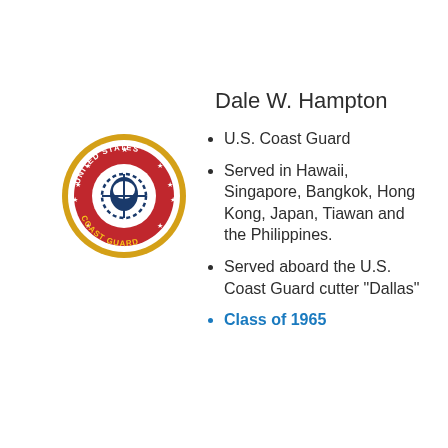Dale W. Hampton
[Figure (logo): United States Coast Guard circular emblem/patch with red background, gold border, stars, and anchor rope design with text 'UNITED STATES COAST GUARD']
U.S. Coast Guard
Served in Hawaii, Singapore, Bangkok, Hong Kong, Japan, Tiawan and the Philippines.
Served aboard the U.S. Coast Guard cutter "Dallas"
Class of 1965